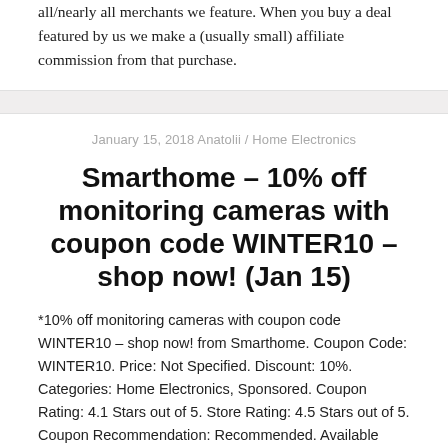all/nearly all merchants we feature. When you buy a deal featured by us we make a (usually small) affiliate commission from that purchase.
January 15, 2018 Anatolii / Home Electronics
Smarthome – 10% off monitoring cameras with coupon code WINTER10 – shop now! (Jan 15)
*10% off monitoring cameras with coupon code WINTER10 – shop now! from Smarthome. Coupon Code: WINTER10. Price: Not Specified. Discount: 10%. Categories: Home Electronics, Sponsored. Coupon Rating: 4.1 Stars out of 5. Store Rating: 4.5 Stars out of 5. Coupon Recommendation: Recommended. Available Until: Mar 31. Thoughts: None. Disclosure: We have an affiliate relationship with all/nearly all merchants we feature. When you buy a deal featured by us we make a (usually small) affiliate commission from that purchase.